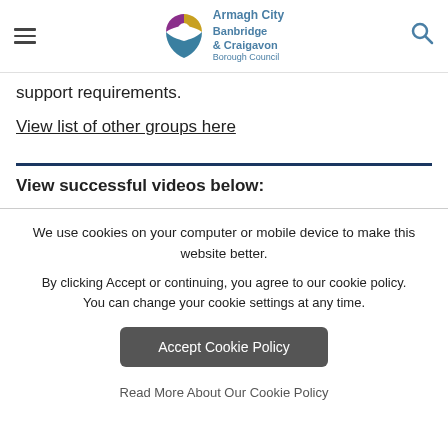Armagh City Banbridge & Craigavon Borough Council
support requirements.
View list of other groups here
View successful videos below:
We use cookies on your computer or mobile device to make this website better. By clicking Accept or continuing, you agree to our cookie policy. You can change your cookie settings at any time.
Accept Cookie Policy
Read More About Our Cookie Policy